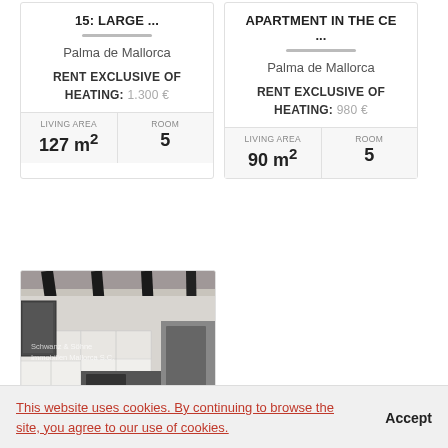15: LARGE ...
Palma de Mallorca
RENT EXCLUSIVE OF HEATING: 1.300 €
LIVING AREA 127 m²
ROOM 5
APARTMENT IN THE CE ...
Palma de Mallorca
RENT EXCLUSIVE OF HEATING: 980 €
LIVING AREA 90 m²
ROOM 5
[Figure (photo): Interior photo of a modern apartment with black ceiling beams, white cabinets, and kitchen area. Watermark reads 'Schwanz & Söhne Immobilien Mallorca S.C.']
This website uses cookies. By continuing to browse the site, you agree to our use of cookies.
Accept